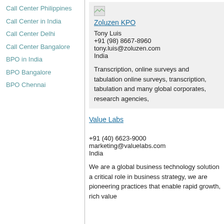Call Center Philippines
Call Center in India
Call Center Delhi
Call Center Bangalore
BPO in India
BPO Bangalore
BPO Chennai
[Figure (logo): Small broken image icon for Zoluzen KPO]
Zoluzen KPO
Tony Luis
+91 (98) 8667-8960
tony.luis@zoluzen.com
India
Transcription, online surveys and tabulation online surveys, transcription, tabulation and many global corporates, research agencies,
Value Labs
+91 (40) 6623-9000
marketing@valuelabs.com
India
We are a global business technology solution a critical role in business strategy, we are pioneering practices that enable rapid growth, rich value